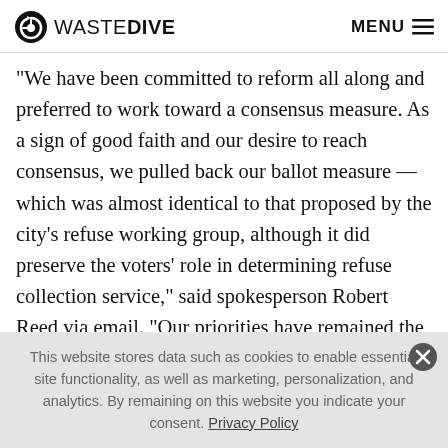WASTE DIVE  MENU
“We have been committed to reform all along and preferred to work toward a consensus measure. As a sign of good faith and our desire to reach consensus, we pulled back our ballot measure — which was almost identical to that proposed by the city’s refuse working group, although it did preserve the voters’ role in determining refuse collection service,” said spokesperson Robert Reed via email. “Our priorities have remained the same all along: delivering best-in-the-industry,
This website stores data such as cookies to enable essential site functionality, as well as marketing, personalization, and analytics. By remaining on this website you indicate your consent. Privacy Policy